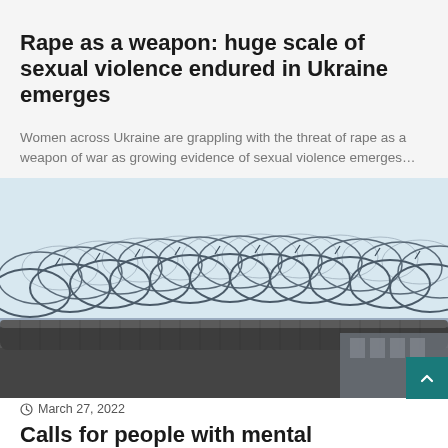April 3, 2022
Rape as a weapon: huge scale of sexual violence endured in Ukraine emerges
Women across Ukraine are grappling with the threat of rape as a weapon of war as growing evidence of sexual violence emerges…
[Figure (photo): Close-up photograph of razor wire / concertina wire coiled on top of a dark fence or wall, against a pale sky background.]
March 27, 2022
Calls for people with mental impairment to